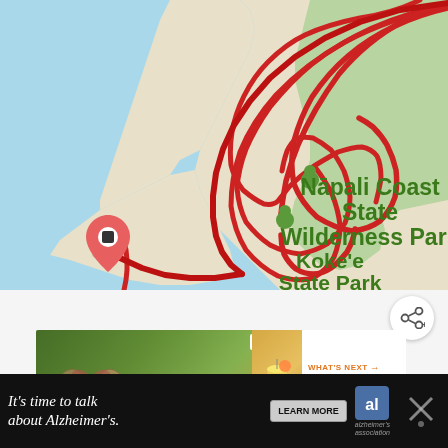[Figure (map): Google Maps screenshot showing the Nāpali Coast of Kauai, Hawaii. A red route line runs along the coastline. Green areas show Nāpali Coast State Wilderness Park and Koke'e State Park. A pink location pin with a stop icon marks the end of the route on the western coast. The ocean is shown in light blue.]
[Figure (screenshot): Share button (circle with share icon)]
[Figure (screenshot): Advertisement banner: 'LOVE > HA[TE]' with image of hands forming heart shape, and a 'WHAT'S NEXT' panel for Hawaiian Mai Tai Recipe with drink thumbnail]
[Figure (screenshot): Advertisement banner: 'It's time to talk about Alzheimer's.' with LEARN MORE button and Alzheimer's Association logo on black background]